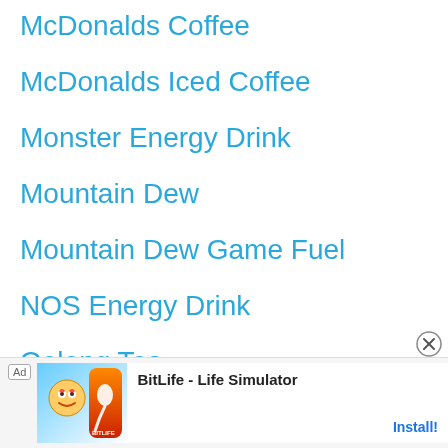McDonalds Coffee
McDonalds Iced Coffee
Monster Energy Drink
Mountain Dew
Mountain Dew Game Fuel
NOS Energy Drink
Oolong Tea
Peet's Brewed Coffee
Pepsi
[Figure (screenshot): Mobile ad banner for BitLife - Life Simulator app with Install button]